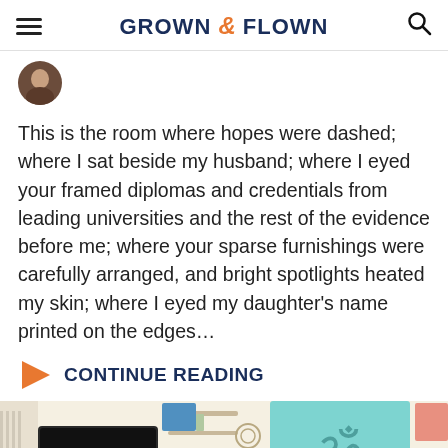GROWN & FLOWN
[Figure (photo): Partial circular avatar photo of a person]
This is the room where hopes were dashed; where I sat beside my husband; where I eyed your framed diplomas and credentials from leading universities and the rest of the evidence before me; where your sparse furnishings were carefully arranged, and bright spotlights heated my skin; where I eyed my daughter’s name printed on the edges…
CONTINUE READING
[Figure (photo): A teenager's dorm or bedroom with a teal Om tapestry on the wall, a TV, shelves with items, a metal bed frame, and white bedding. Colorful posters on a white/cream wall.]